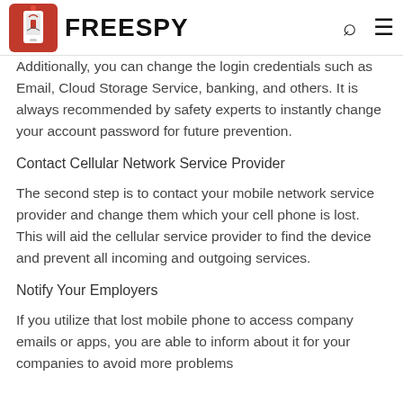FREESPY
Additionally, you can change the login credentials such as Email, Cloud Storage Service, banking, and others. It is always recommended by safety experts to instantly change your account password for future prevention.
Contact Cellular Network Service Provider
The second step is to contact your mobile network service provider and change them which your cell phone is lost. This will aid the cellular service provider to find the device and prevent all incoming and outgoing services.
Notify Your Employers
If you utilize that lost mobile phone to access company emails or apps, you are able to inform about it for your companies to avoid more problems